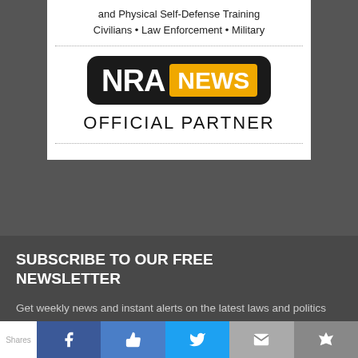and Physical Self-Defense Training
Civilians • Law Enforcement • Military
[Figure (logo): NRA NEWS OFFICIAL PARTNER logo — black rounded rectangle containing 'NRA' in white bold text and 'NEWS' in white bold text on a gold/yellow background, below which reads 'OFFICIAL PARTNER' in large spaced letters]
SUBSCRIBE TO OUR FREE NEWSLETTER
Get weekly news and instant alerts on the latest laws and politics that affect your gun rights. Enjoy cutting-edge